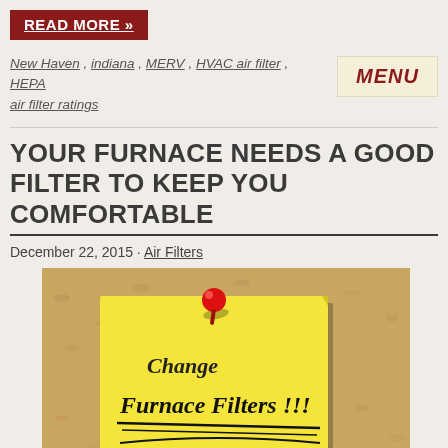READ MORE »
New Haven , indiana , MERV , HVAC air filter , HEPA air filter ratings
YOUR FURNACE NEEDS A GOOD FILTER TO KEEP YOU COMFORTABLE
December 22, 2015 · Air Filters
[Figure (photo): A sticky note pinned to a corkboard with a red pushpin. The note reads 'Change Furnace Filters !!!' in handwritten-style font.]